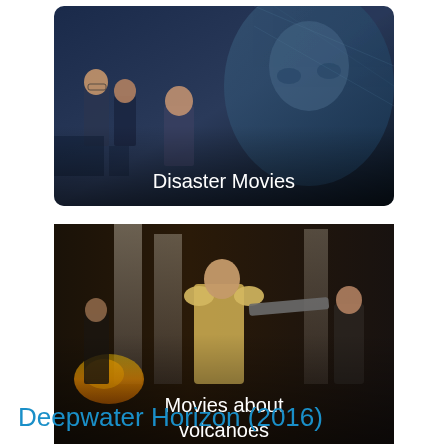[Figure (photo): Movie category card with dark sci-fi/disaster movie poster showing multiple actors, labeled 'Disaster Movies']
[Figure (photo): Movie category card with scene of ancient Roman soldiers/warriors, labeled 'Movies about volcanoes']
Deepwater Horizon (2016)